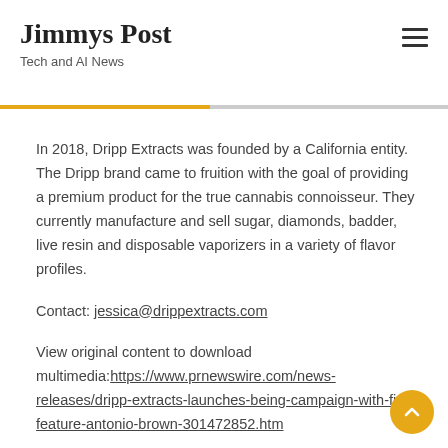Jimmys Post
Tech and AI News
In 2018, Dripp Extracts was founded by a California entity. The Dripp brand came to fruition with the goal of providing a premium product for the true cannabis connoisseur. They currently manufacture and sell sugar, diamonds, badder, live resin and disposable vaporizers in a variety of flavor profiles.
Contact: jessica@drippextracts.com
View original content to download multimedia:https://www.prnewswire.com/news-releases/dripp-extracts-launches-being-campaign-with-first-feature-antonio-brown-301472852.htm